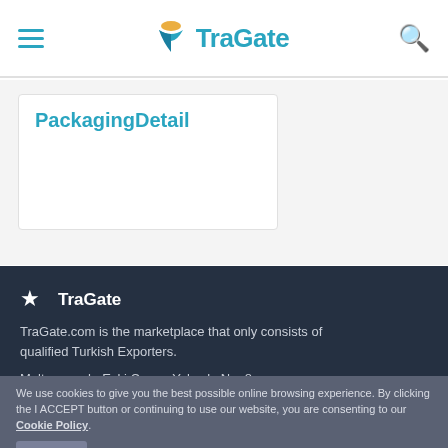TraGate
PackagingDetail
TraGate
TraGate.com is the marketplace that only consists of qualified Turkish Exporters.
Maltepe mah. Eski Çırpıcı Yolu sk. No: 8 Parima Office Floor: 14
We use cookies to give you the best possible online browsing experience. By clicking the I ACCEPT button or continuing to use our website, you are consenting to our Cookie Policy. I Accept